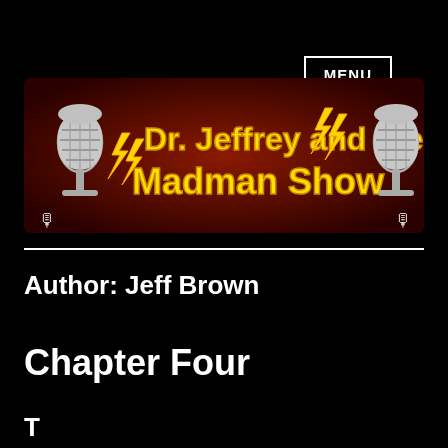MENU
[Figure (logo): Dr. Jeffrey and the Madman Show logo banner with microphones and lightning bolts on a dark red background. Yellow bold text reads 'Dr. Jeffrey and the Madman Show'.]
Author: Jeff Brown
Chapter Four
T...